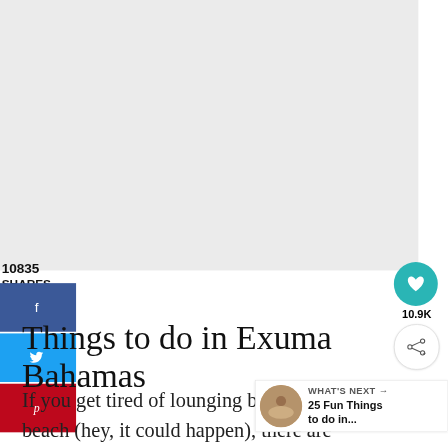10835
SHARES
[Figure (infographic): Social share sidebar with Facebook (blue), Twitter (blue), and Pinterest (red) buttons]
[Figure (infographic): Teal circular heart/save button with count 10.9K and a circular share button below]
Things to do in Exuma Bahamas
If you get tired of lounging by the beach (hey, it could happen), there are some
[Figure (photo): Small circular thumbnail for 'What's Next' widget showing an outdoor scene]
WHAT'S NEXT → 25 Fun Things to do in...